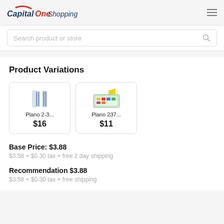Capital One Shopping
Search product or store
Product Variations
[Figure (photo): Product card: Plano 2-3... priced at $16]
[Figure (photo): Product card: Plano 237... priced at $11]
Base Price: $3.88
$3.58 + $0.30 tax + free 2 day shipping
Recommendation $3.88
$3.58 + $0.30 tax + free shipping